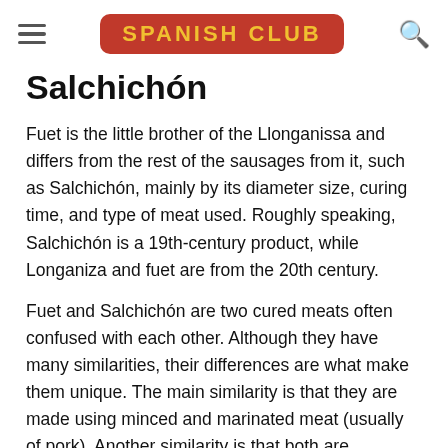SPANISH CLUB
Salchichón
Fuet is the little brother of the Llonganissa and differs from the rest of the sausages from it, such as Salchichón, mainly by its diameter size, curing time, and type of meat used. Roughly speaking, Salchichón is a 19th-century product, while Longaniza and fuet are from the 20th century.
Fuet and Salchichón are two cured meats often confused with each other. Although they have many similarities, their differences are what make them unique. The main similarity is that they are made using minced and marinated meat (usually of pork). Another similarity is that both are sausages, that is to say, that for their preparation the raw material has to be sausaged in a pork casing or similar, which will then be left to cure and dry.